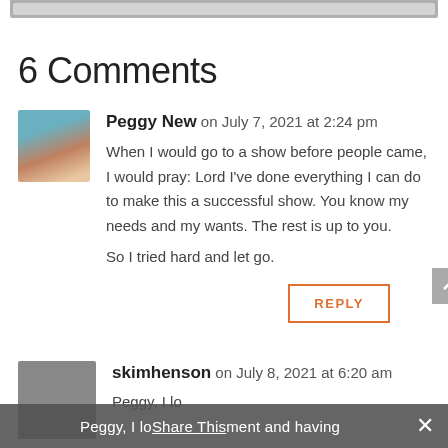6 Comments
Peggy New on July 7, 2021 at 2:24 pm
When I would go to a show before people came, I would pray: Lord I've done everything I can do to make this a successful show. You know my needs and my wants. The rest is up to you.
So I tried hard and let go.
skimhenson on July 8, 2021 at 6:20 am
Peggy, I lo... ment and having ...